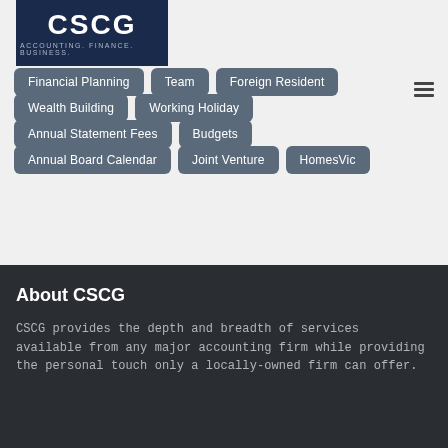[Figure (logo): CSCG logo — dark navy box with 'CSCG' in large white letters and 'ACCOUNTING. FINANCE. BUSINESS.' subtitle]
Financial Planning
Team
Foreign Resident
Wealth Building
Working Holiday
Annual Statement Fees
Budgets
Annual Board Calendar
Joint Venture
HomesVic
About CSCG
CSCG provides the depth and breadth of services available from any major accounting firm while providing the personal touch only a locally-owned firm can offer.